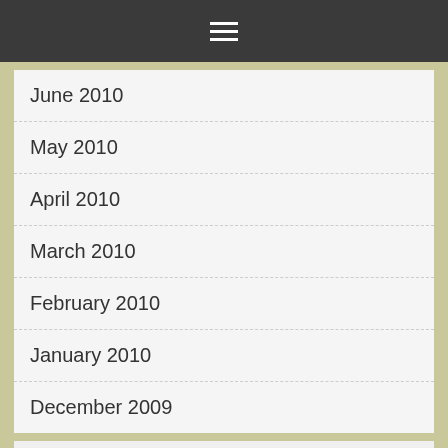☰
June 2010
May 2010
April 2010
March 2010
February 2010
January 2010
December 2009
TAGS
AFRICA ARISTIDE ARMY ARNEL BELIZAIRE BELLERIEVE BORDER CARIBBEAN CARICOM CEANT CEP CITIZENSHIP COCAINE